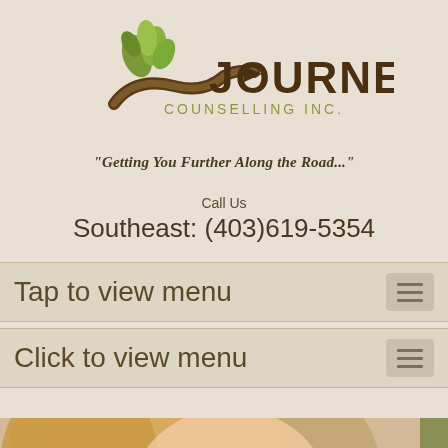[Figure (logo): Journey Counselling Inc. logo with tree/road graphic and tagline 'Getting You Further Along the Road...']
Call Us
Southeast: (403)619-5354
Tap to view menu
Click to view menu
[Figure (photo): Photo of a woman smiling, partial view, with an olive/brown overlay panel showing the word 'Coup' (Couples counselling)]